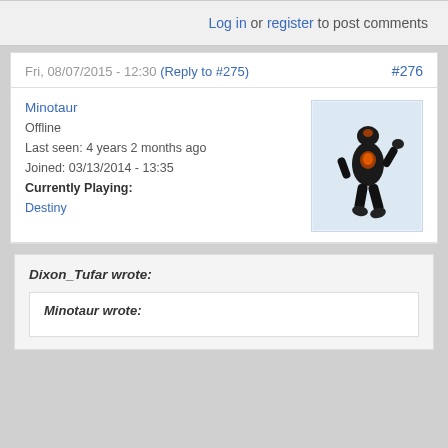Log in or register to post comments
Fri, 08/07/2015 - 12:30 (Reply to #275) #276
Minotaur
Offline
Last seen: 4 years 2 months ago
Joined: 03/13/2014 - 13:35
Currently Playing:
Destiny
[Figure (illustration): Avatar image of a dark robotic/monster figure in an action pose against a light blue background]
Dixon_Tufar wrote:
Minotaur wrote: